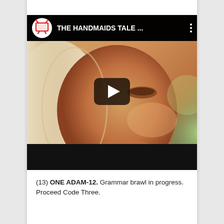[Figure (screenshot): YouTube video thumbnail showing The Handmaids Tale with a close-up of a woman's face wearing a white bonnet, with a play button overlay and the video title 'THE HANDMAIDS TALE ...' in the top bar]
(13) ONE ADAM-12. Grammar brawl in progress. Proceed Code Three.